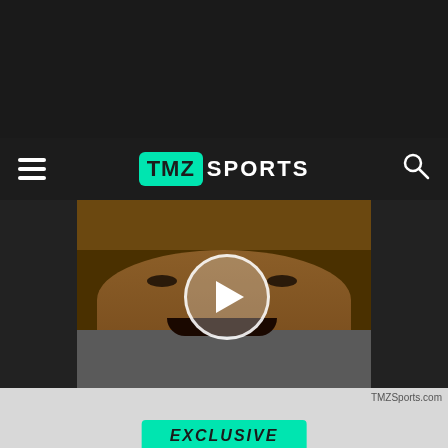[Figure (screenshot): TMZ Sports website screenshot showing navigation bar with hamburger menu, TMZ Sports logo in teal/green, and search icon on dark background]
[Figure (photo): Video thumbnail showing a bald man with his mouth open, smiling or speaking, with a play button overlay in the center. Dark textured background on sides.]
TMZSports.com
EXCLUSIVE